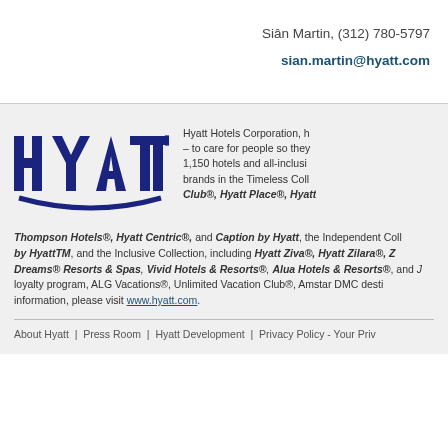Siân Martin, (312) 780-5797
sian.martin@hyatt.com
[Figure (logo): Hyatt logo in dark navy blue with stylized arc underneath the letters]
Hyatt Hotels Corporation, h – to care for people so they 1,150 hotels and all-inclusi brands in the Timeless Coll Club®, Hyatt Place®, Hyatt Thompson Hotels®, Hyatt Centric®, and Caption by Hyatt, the Independent Coll by HyattTM, and the Inclusive Collection, including Hyatt Ziva®, Hyatt Zilara®, Z Dreams® Resorts & Spas, Vivid Hotels & Resorts®, Alua Hotels & Resorts®, and J loyalty program, ALG Vacations®, Unlimited Vacation Club®, Amstar DMC desti information, please visit www.hyatt.com.
About Hyatt  |  Press Room  |  Hyatt Development  |  Privacy Policy - Your Priv